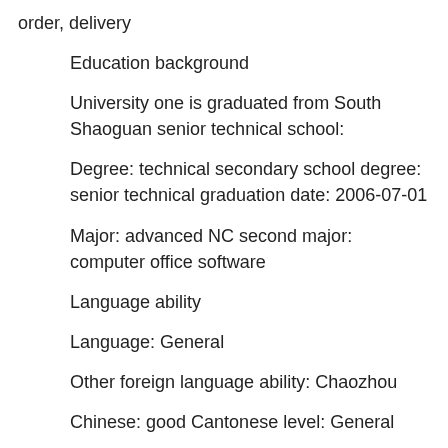order, delivery
Education background
University one is graduated from South Shaoguan senior technical school:
Degree: technical secondary school degree: senior technical graduation date: 2006-07-01
Major: advanced NC second major: computer office software
Language ability
Language: General
Other foreign language ability: Chaozhou
Chinese: good Cantonese level: General